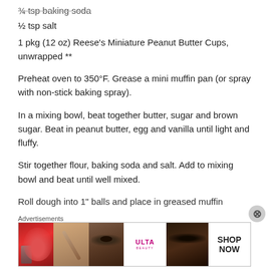½ tsp salt
1 pkg (12 oz) Reese's Miniature Peanut Butter Cups, unwrapped **
Preheat oven to 350°F. Grease a mini muffin pan (or spray with non-stick baking spray).
In a mixing bowl, beat together butter, sugar and brown sugar. Beat in peanut butter, egg and vanilla until light and fluffy.
Stir together flour, baking soda and salt. Add to mixing bowl and beat until well mixed.
Roll dough into 1″ balls and place in greased muffin
Advertisements
[Figure (photo): Ulta beauty advertisement banner showing makeup-related images including lips with red lipstick, a makeup brush, an eye with makeup, the Ulta logo, another eye with makeup, and SHOP NOW text]